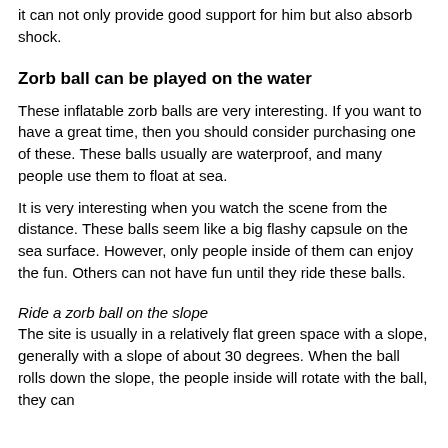it can not only provide good support for him but also absorb shock.
Zorb ball can be played on the water
These inflatable zorb balls are very interesting. If you want to have a great time, then you should consider purchasing one of these. These balls usually are waterproof, and many people use them to float at sea.
It is very interesting when you watch the scene from the distance. These balls seem like a big flashy capsule on the sea surface. However, only people inside of them can enjoy the fun. Others can not have fun until they ride these balls.
Ride a zorb ball on the slope
The site is usually in a relatively flat green space with a slope, generally with a slope of about 30 degrees. When the ball rolls down the slope, the people inside will rotate with the ball, they can